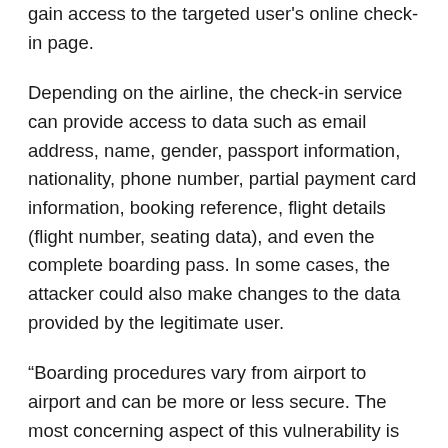gain access to the targeted user's online check-in page.
Depending on the airline, the check-in service can provide access to data such as email address, name, gender, passport information, nationality, phone number, partial payment card information, booking reference, flight details (flight number, seating data), and even the complete boarding pass. In some cases, the attacker could also make changes to the data provided by the legitimate user.
“Boarding procedures vary from airport to airport and can be more or less secure. The most concerning aspect of this vulnerability is that in